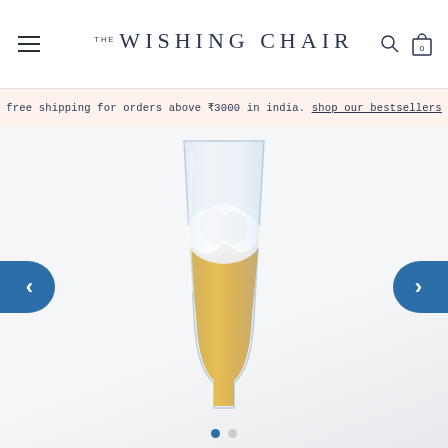THE WISHING CHAIR
free shipping for orders above ₹3000 in india. shop our bestsellers
[Figure (photo): A beer glass filled with golden lager beer and white foam head, photographed against a bright white background. Navigation arrows visible on both sides. Carousel dot indicators at the bottom.]